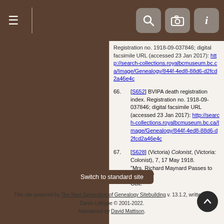Navigation bar with hamburger menu and search/camera/info icons
65. [S652] BVIPA death registration index. Registration no. 1918-09-037846; digital facsimile URL (accessed 23 Jan 2017): http://search-collections.royalbcmuseum.bc.ca/Image/Genealogy/844f-4ed8-88d6-d2fcd2a46e4c
66. [S652] BVIPA death registration index. Registration no. 1918-09-037846; digital facsimile URL (accessed 23 Jan 2017): http://search-collections.royalbcmuseum.bc.ca/Image/Genealogy/844f-4ed8-88d6-d2fcd2a46e4c
67. [S628] (Victoria) Colonist, (Victoria: Colonist), 7, 17 May 1918. "Mrs. Richard Maynard Passes to Her Rest" Obit.
Switch to standard site
This site powered by The Next Generation of Genealogy Sitebuilding v. 13.1.2, written by Darrin Lythgoe © 2001-2022. Maintained by David Mattison.